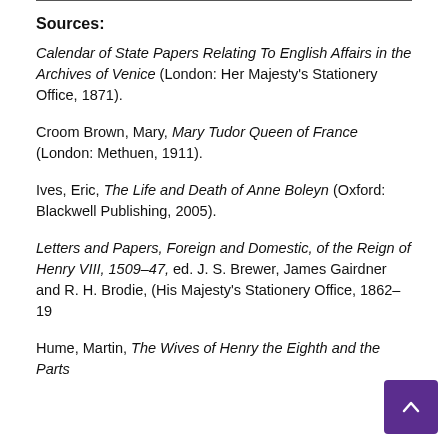Sources:
Calendar of State Papers Relating To English Affairs in the Archives of Venice (London: Her Majesty's Stationery Office, 1871).
Croom Brown, Mary, Mary Tudor Queen of France (London: Methuen, 1911).
Ives, Eric, The Life and Death of Anne Boleyn (Oxford: Blackwell Publishing, 2005).
Letters and Papers, Foreign and Domestic, of the Reign of Henry VIII, 1509–47, ed. J. S. Brewer, James Gairdner and R. H. Brodie, (His Majesty's Stationery Office, 1862–19…
Hume, Martin, The Wives of Henry the Eighth and the Parts